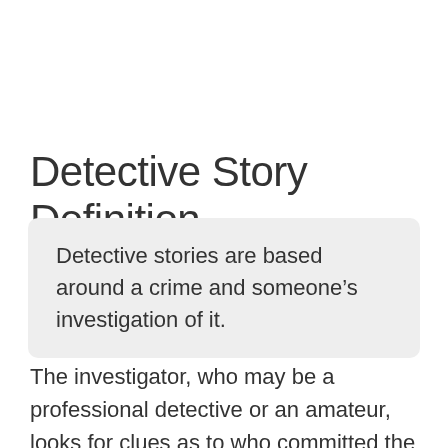Detective Story Definition
Detective stories are based around a crime and someone’s investigation of it.
The investigator, who may be a professional detective or an amateur, looks for clues as to who committed the crime and usually catches the criminal by the end of the story. They can be written as individual short